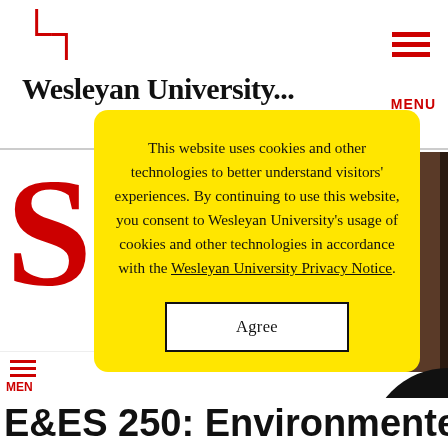[Figure (screenshot): Wesleyan University website partially visible in background behind a cookie consent modal. Header shows partial logo and red hamburger menu icon labeled MENU. Large red letter S visible on left. Brown photo area on right. Bottom shows 'E&ES 250: Environmente' page title.]
This website uses cookies and other technologies to better understand visitors' experiences. By continuing to use this website, you consent to Wesleyan University's usage of cookies and other technologies in accordance with the Wesleyan University Privacy Notice.
Agree